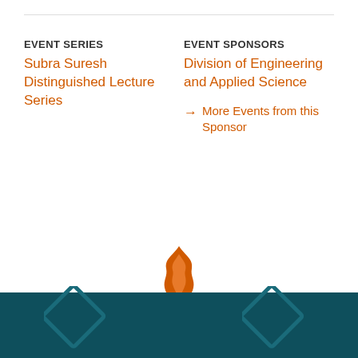EVENT SERIES
Subra Suresh Distinguished Lecture Series
EVENT SPONSORS
Division of Engineering and Applied Science
More Events from this Sponsor
[Figure (logo): Orange torch/flame logo above teal footer with diamond decorations]